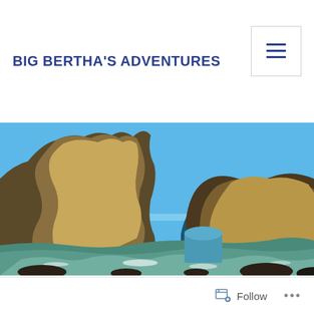BIG BERTHA'S ADVENTURES
[Figure (photo): Coastal rock arch formation with blue sky and sea, waves washing over rocky beach foreground]
Follow